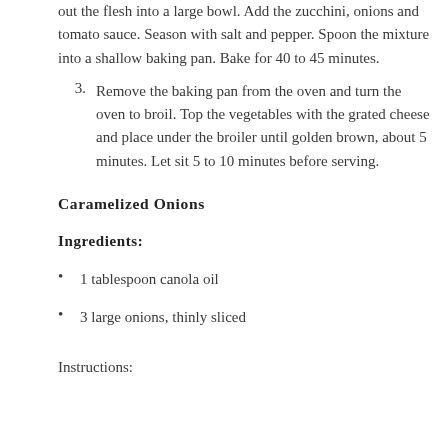out the flesh into a large bowl. Add the zucchini, onions and tomato sauce. Season with salt and pepper. Spoon the mixture into a shallow baking pan. Bake for 40 to 45 minutes.
3. Remove the baking pan from the oven and turn the oven to broil. Top the vegetables with the grated cheese and place under the broiler until golden brown, about 5 minutes. Let sit 5 to 10 minutes before serving.
Caramelized Onions
Ingredients:
1 tablespoon canola oil
3 large onions, thinly sliced
Instructions: